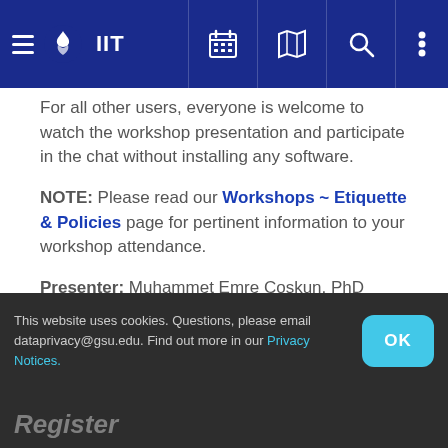IIT
For all other users, everyone is welcome to watch the workshop presentation and participate in the chat without installing any software.
NOTE: Please read our Workshops ~ Etiquette & Policies page for pertinent information to your workshop attendance.
Presenter: Muhammet Emre Coskun, PhD Candidate in Public Management and Policy, and Graduate Research Assistant with the Library's Research Data Services Team.
Contact: aswygarthobaugh@gsu.edu
This website uses cookies. Questions, please email dataprivacy@gsu.edu. Find out more in our Privacy Notices.